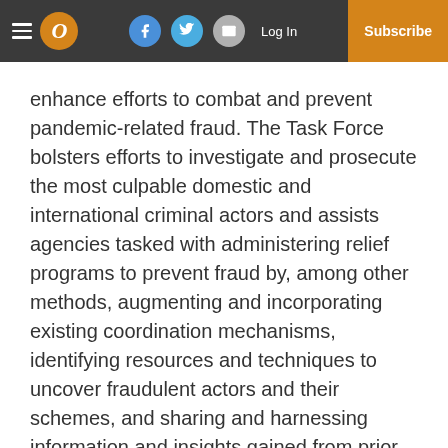Log In | Subscribe
enhance efforts to combat and prevent pandemic-related fraud. The Task Force bolsters efforts to investigate and prosecute the most culpable domestic and international criminal actors and assists agencies tasked with administering relief programs to prevent fraud by, among other methods, augmenting and incorporating existing coordination mechanisms, identifying resources and techniques to uncover fraudulent actors and their schemes, and sharing and harnessing information and insights gained from prior enforcement efforts. For more information on the Department's response